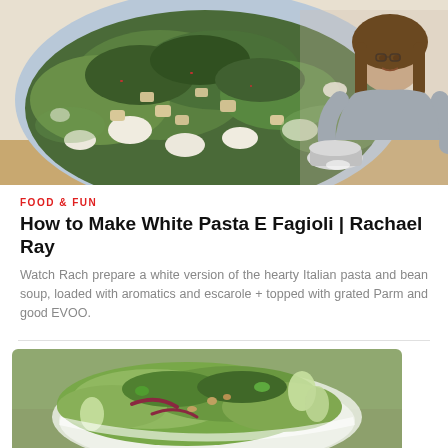[Figure (photo): Food photo showing a bowl of white pasta e fagioli (Italian pasta and bean soup) with greens and beans, with a woman (Rachael Ray) in the background pouring something into a pot]
FOOD & FUN
How to Make White Pasta E Fagioli | Rachael Ray
Watch Rach prepare a white version of the hearty Italian pasta and bean soup, loaded with aromatics and escarole + topped with grated Parm and good EVOO.
[Figure (photo): Food photo of a salad in a white bowl with greens, apple slices, red onion, and nuts on a wooden surface]